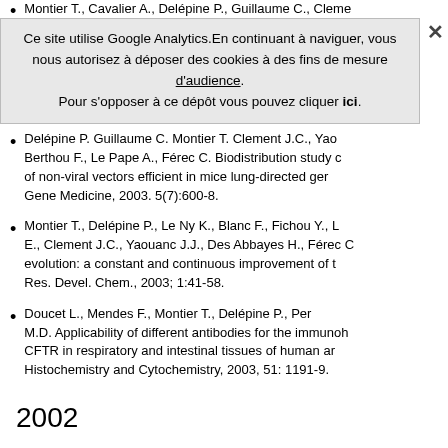Montier T., Cavalier A., Delépine P., Guillaume C., Cleme... pathway following... transfection with cationic ph... Molecules and Diseases, 2003; 30(1):112-23.
Delépine P. Guillaume C. Montier T. Clement J.C., Yao... Berthou F., Le Pape A., Férec C. Biodistribution study of non-viral vectors efficient in mice lung-directed ge... Gene Medicine, 2003. 5(7):600-8.
Montier T., Delépine P., Le Ny K., Blanc F., Fichou Y., L... E., Clement J.C., Yaouanc J.J., Des Abbayes H., Férec C... evolution: a constant and continuous improvement of t... Res. Devel. Chem., 2003; 1:41-58.
Doucet L., Mendes F., Montier T., Delépine P., Pen... M.D. Applicability of different antibodies for the immunoh... CFTR in respiratory and intestinal tissues of human an... Histochemistry and Cytochemistry, 2003, 51: 1191-9.
2002